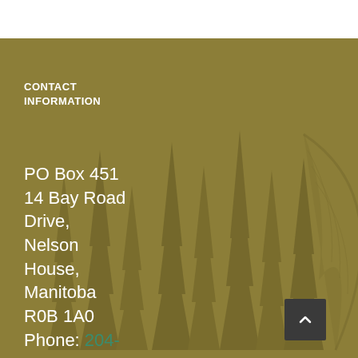CONTACT INFORMATION
PO Box 451
14 Bay Road Drive,
Nelson House,
Manitoba R0B 1A0
Phone: 204-484-2341
[Figure (illustration): Background image of evergreen forest trees silhouetted in olive/gold tones with a large leaf visible on the right side]